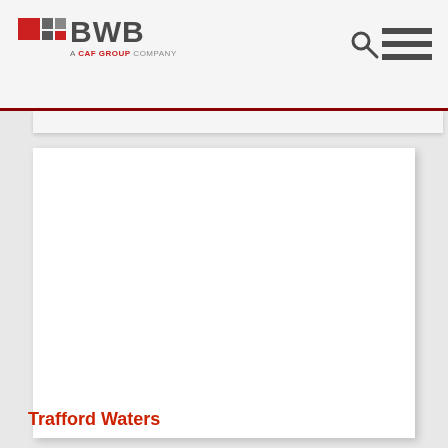[Figure (logo): BWB logo with red and grey grid squares, text 'BWB' in bold dark grey, subtitle 'A CAF GROUP COMPANY' in small text below]
[Figure (other): Search magnifying glass icon in dark grey]
[Figure (other): Hamburger menu icon with three horizontal dark grey bars]
[Figure (photo): Large white content card area, mostly blank white space representing a project image placeholder]
Trafford Waters